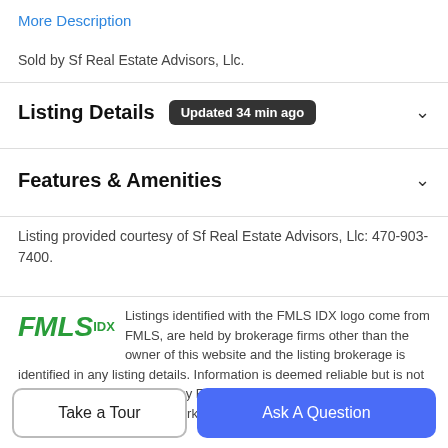More Description
Sold by Sf Real Estate Advisors, Llc.
Listing Details  Updated 34 min ago
Features & Amenities
Listing provided courtesy of Sf Real Estate Advisors, Llc: 470-903-7400.
Listings identified with the FMLS IDX logo come from FMLS, are held by brokerage firms other than the owner of this website and the listing brokerage is identified in any listing details. Information is deemed reliable but is not guaranteed. If you believe any FMLS listing contains material that infringes your copyrighted work, please click here to review